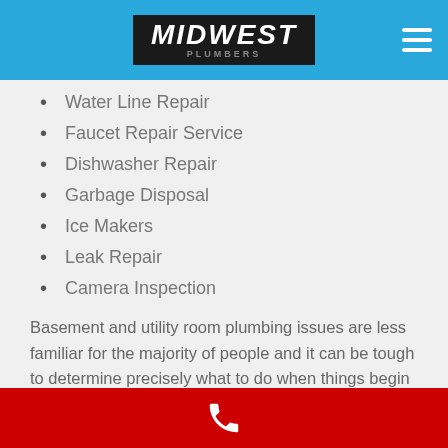Midwest
Water Line Repair
Faucet Repair Service
Dishwasher Repair
Garbage Disposal
Ice Makers
Leak Repair
Camera Inspection
Basement and utility room plumbing issues are less familiar for the majority of people and it can be tough to determine precisely what to do when things begin dripping or flooding, or some other service concern occurs in those areas. There are a few common plumber related problems you might find in your basement or utility room if you have one, the best way to fi
[phone icon]